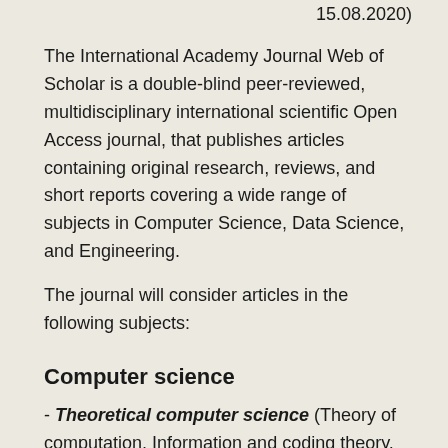15.08.2020)
The International Academy Journal Web of Scholar is a double-blind peer-reviewed, multidisciplinary international scientific Open Access journal, that publishes articles containing original research, reviews, and short reports covering a wide range of subjects in Computer Science, Data Science, and Engineering.
The journal will consider articles in the following subjects:
Computer science
- Theoretical computer science (Theory of computation, Information and coding theory, Data structures and algorithms, Programming language theory, Formal methods);
- Computer systems (Computer architecture and computer engineering, Computer performance analysis, Concurrent,